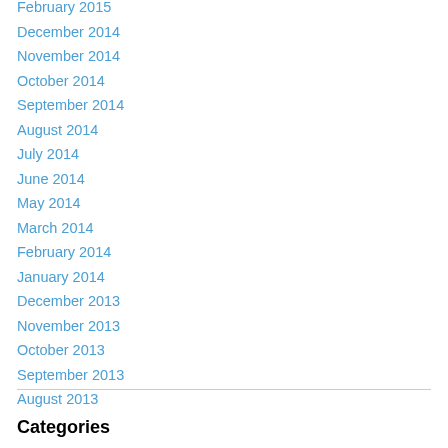February 2015
December 2014
November 2014
October 2014
September 2014
August 2014
July 2014
June 2014
May 2014
March 2014
February 2014
January 2014
December 2013
November 2013
October 2013
September 2013
August 2013
Categories